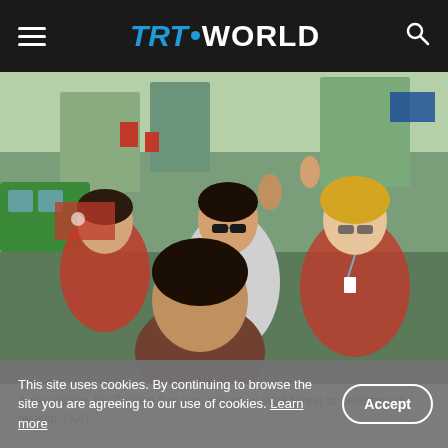TRT WORLD
[Figure (photo): People celebrating at a Turkish parade, some holding Turkish flags (red with white crescent), smiling and waving. Multiple people visible including a young boy in foreground and a woman with sunglasses.]
A day earlier, the Turkish flag was raised on Wall Street to celebrate the festival. (AA)
A Turkish band Mehter (Ottoman Janissary Band) performance was also part of the parade.
This site uses cookies. By continuing to browse the site you are agreeing to our use of cookies. Learn more